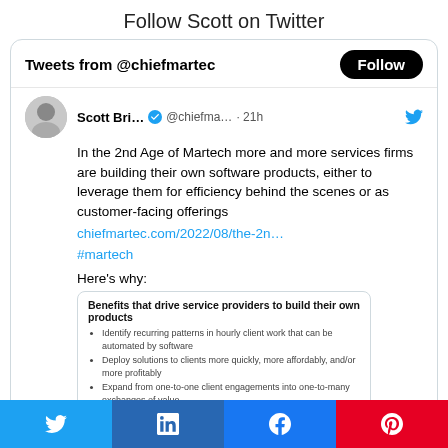Follow Scott on Twitter
[Figure (screenshot): Twitter widget showing tweets from @chiefmartec with a Follow button, avatar of Scott Brinker, tweet text about the 2nd Age of Martech and service firms building software products, a link chiefmartec.com/2022/08/the-2n... and #martech hashtag, followed by 'Here's why:' and a nested card titled 'Benefits that drive service providers to build their own products' with three bullet points.]
[Figure (infographic): Social share bar with four buttons: Twitter (blue), LinkedIn (dark blue), Facebook (blue), Pinterest (red)]